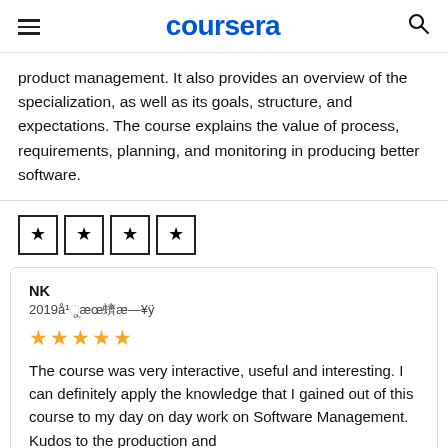coursera
product management. It also provides an overview of the specialization, as well as its goals, structure, and expectations. The course explains the value of process, requirements, planning, and monitoring in producing better software.
Reviews (star icons)
NK
2019年1月10日
★★★★★
The course was very interactive, useful and interesting. I can definitely apply the knowledge that I gained out of this course to my day on day work on Software Management. Kudos to the production and